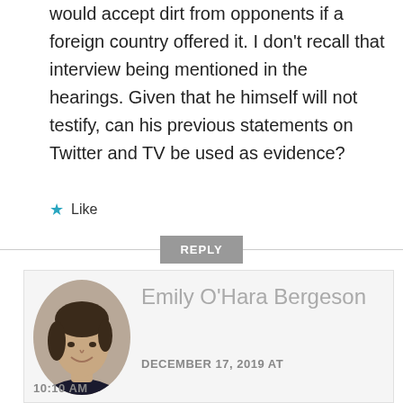would accept dirt from opponents if a foreign country offered it. I don't recall that interview being mentioned in the hearings. Given that he himself will not testify, can his previous statements on Twitter and TV be used as evidence?
★ Like
REPLY
Emily O'Hara Bergeson
DECEMBER 17, 2019 AT 10:10 AM